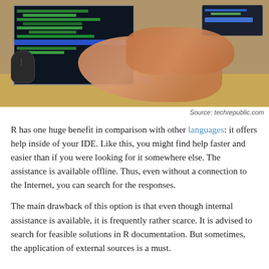[Figure (photo): Person typing on a laptop with a code editor open on screen. A computer mouse is visible on the desk beside the laptop. The screen shows green and blue code on a dark background with a blue taskbar.]
Source: techrepublic.com
R has one huge benefit in comparison with other languages: it offers help inside of your IDE. Like this, you might find help faster and easier than if you were looking for it somewhere else. The assistance is available offline. Thus, even without a connection to the Internet, you can search for the responses.
The main drawback of this option is that even though internal assistance is available, it is frequently rather scarce. It is advised to search for feasible solutions in R documentation. But sometimes, the application of external sources is a must.